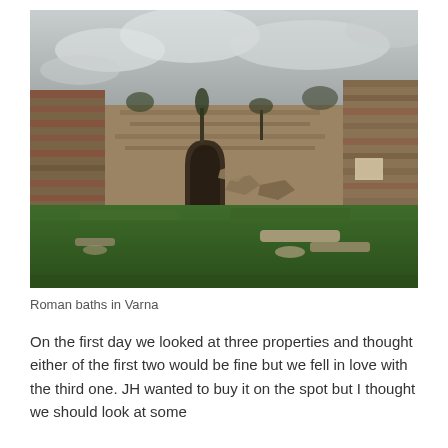[Figure (photo): Photograph of Roman baths ruins in Varna. Ancient stone and brick walls stand on either side of a grassy courtyard. Overcast sky above. A stone archway visible in the center background. Fallen stone columns and rubble on the grass.]
Roman baths in Varna
On the first day we looked at three properties and thought either of the first two would be fine but we fell in love with the third one. JH wanted to buy it on the spot but I thought we should look at some